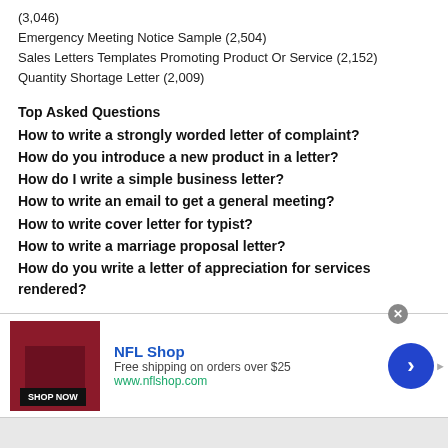(3,046)
Emergency Meeting Notice Sample (2,504)
Sales Letters Templates Promoting Product Or Service (2,152)
Quantity Shortage Letter (2,009)
Top Asked Questions
How to write a strongly worded letter of complaint?
How do you introduce a new product in a letter?
How do I write a simple business letter?
How to write an email to get a general meeting?
How to write cover letter for typist?
How to write a marriage proposal letter?
How do you write a letter of appreciation for services rendered?
[Figure (infographic): NFL Shop advertisement banner with red jersey image, SHOP NOW button, NFL Shop title in blue, free shipping offer text, www.nflshop.com URL in green, and a blue circular arrow button on the right.]